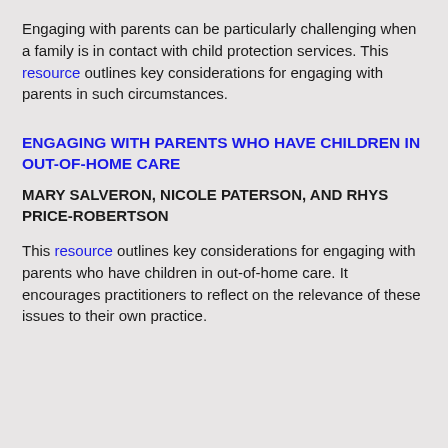Engaging with parents can be particularly challenging when a family is in contact with child protection services. This resource outlines key considerations for engaging with parents in such circumstances.
ENGAGING WITH PARENTS WHO HAVE CHILDREN IN OUT-OF-HOME CARE
MARY SALVERON, NICOLE PATERSON, AND RHYS PRICE-ROBERTSON
This resource outlines key considerations for engaging with parents who have children in out-of-home care. It encourages practitioners to reflect on the relevance of these issues to their own practice.